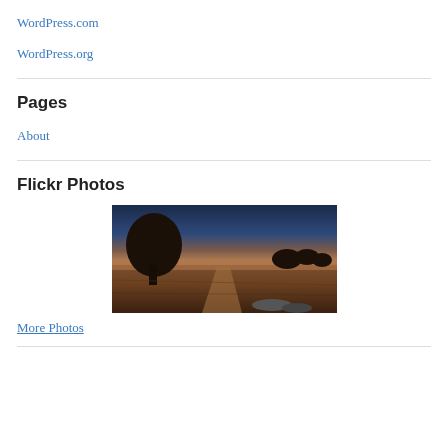WordPress.com
WordPress.org
Pages
About
Flickr Photos
[Figure (photo): Landscape photo showing a large dark tree on the left, an open dirt field in the center, and distant trees on the horizon under a deep blue-to-warm sunset sky]
More Photos